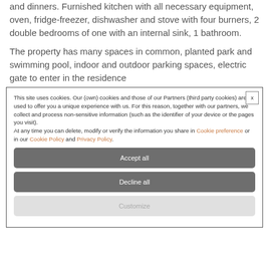and dinners. Furnished kitchen with all necessary equipment, oven, fridge-freezer, dishwasher and stove with four burners, 2 double bedrooms of one with an internal sink, 1 bathroom.
The property has many spaces in common, planted park and swimming pool, indoor and outdoor parking spaces, electric gate to enter in the residence
This site uses cookies. Our (own) cookies and those of our Partners (third party cookies) are used to offer you a unique experience with us. For this reason, together with our partners, we collect and process non-sensitive information (such as the identifier of your device or the pages you visit).
At any time you can delete, modify or verify the information you share in Cookie preference or in our Cookie Policy and Privacy Policy.
Accept all
Decline all
Customize